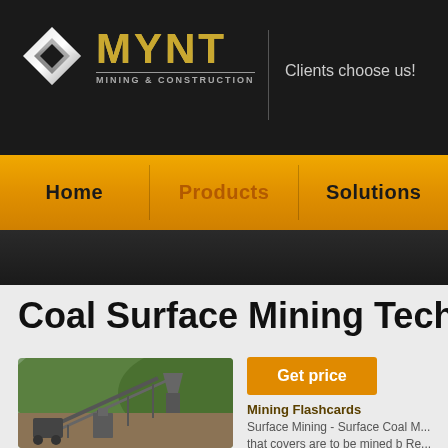[Figure (logo): MYNT Mining & Construction logo with silver diamond icon and gold MYNT text]
Clients choose us!
Home | Products | Solutions
Coal Surface Mining Techniques
[Figure (photo): Mining site with conveyor belts and heavy machinery against a hillside backdrop]
Get price
Mining Flashcards
Surface Mining - Surface Coal M... that covers are to be mined b Re... technique 1 Crushed or melted a...